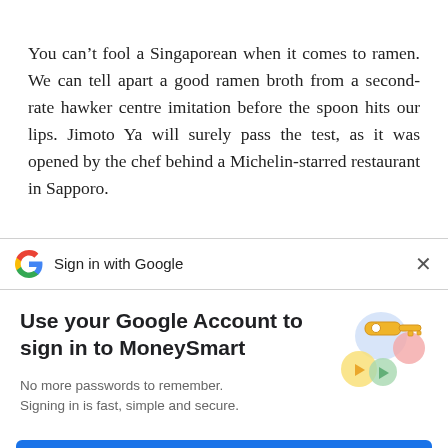You can’t fool a Singaporean when it comes to ramen. We can tell apart a good ramen broth from a second-rate hawker centre imitation before the spoon hits our lips. Jimoto Ya will surely pass the test, as it was opened by the chef behind a Michelin-starred restaurant in Sapporo.
[Figure (screenshot): Google Sign In dialog with Google G logo, 'Sign in with Google' text, close X button, 'Use your Google Account to sign in to MoneySmart' heading, subtitle text, illustrated key graphic, and a blue Continue button.]